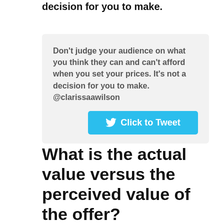decision for you to make.
[Figure (other): Gray rounded box with a quote and a Click to Tweet button. Quote: Don't judge your audience on what you think they can and can't afford when you set your prices. It's not a decision for you to make. @clarissaawilson]
What is the actual value versus the perceived value of the offer?